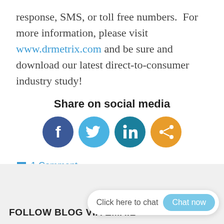response, SMS, or toll free numbers.  For more information, please visit www.drmetrix.com and be sure and download our latest direct-to-consumer industry study!
Share on social media
[Figure (infographic): Social media sharing icons: Facebook (dark blue circle), Twitter (light blue circle), LinkedIn (teal circle), Share (orange circle)]
1 Comment
FOLLOW BLOG VIA EMAIL
Click here to chat  Chat now